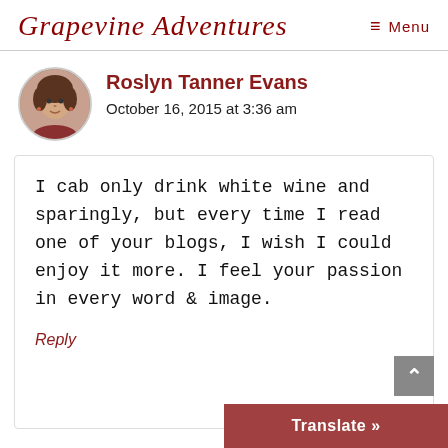Grapevine Adventures   Menu
Roslyn Tanner Evans
October 16, 2015 at 3:36 am
I cab only drink white wine and sparingly, but every time I read one of your blogs, I wish I could enjoy it more. I feel your passion in every word & image.
Reply
Translate »